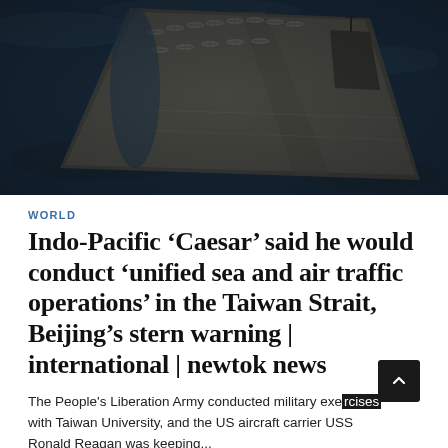[Figure (photo): Aerial view of a US Navy aircraft carrier at sea, with fighter jets lined up on the flight deck, seen from above against dark blue ocean water.]
WORLD
Indo-Pacific ‘Caesar’ said he would conduct ‘unified sea and air traffic operations’ in the Taiwan Strait, Beijing’s stern warning | international | newtok news
The People's Liberation Army conducted military exercises with Taiwan University, and the US aircraft carrier USS Ronald Reagan was keeping...